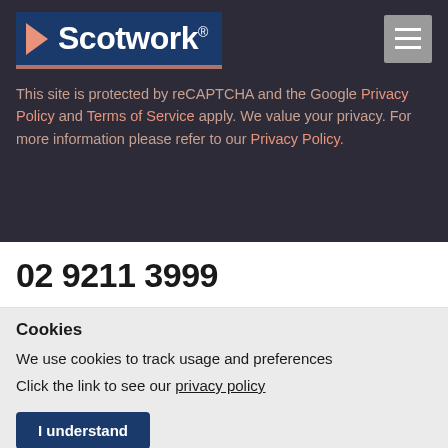[Figure (logo): Scotwork logo on dark blue background with salmon/pink arrow on the left and registered trademark symbol]
This site is protected by reCAPTCHA and the Google Privacy Policy and Terms of Service apply. We value your privacy. For more information please refer to our Privacy Policy.
02 9211 3999
Cookies
We use cookies to track usage and preferences
Click the link to see our privacy policy
I understand